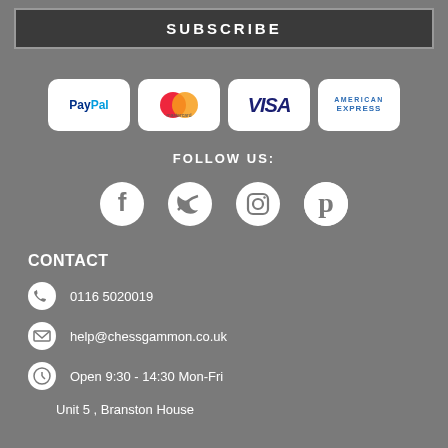SUBSCRIBE
[Figure (logo): Payment method logos: PayPal, Mastercard, VISA, American Express]
FOLLOW US:
[Figure (infographic): Social media icons: Facebook, Twitter, Instagram, Pinterest]
CONTACT
0116 5020019
help@chessgammon.co.uk
Open 9:30 - 14:30 Mon-Fri
Unit 5 , Branston House